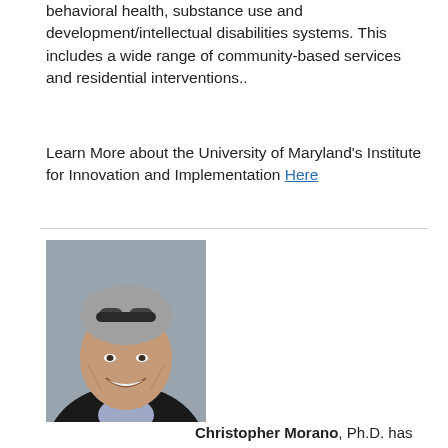behavioral health, substance use and development/intellectual disabilities systems. This includes a wide range of community-based services and residential interventions..
Learn More about the University of Maryland's Institute for Innovation and Implementation Here
[Figure (photo): Headshot of Christopher Morano, Ph.D. — a middle-aged man with gray hair, sunglasses on his head, smiling, wearing a dark jacket and light purple shirt.]
Christopher Morano, Ph.D. has been